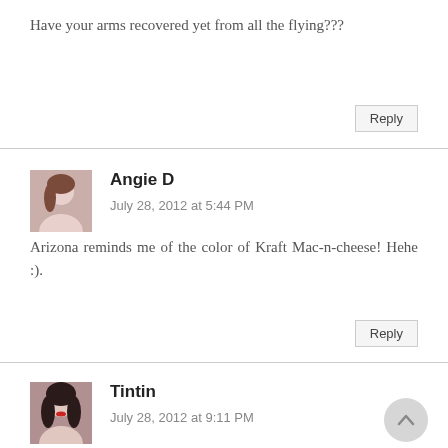Have your arms recovered yet from all the flying???
Reply
Angie D
July 28, 2012 at 5:44 PM
Arizona reminds me of the color of Kraft Mac-n-cheese! Hehe :).
Reply
Tintin
July 28, 2012 at 9:11 PM
lovely swatches I love Lara and Wednesday. I want Zoya polishes so bad.